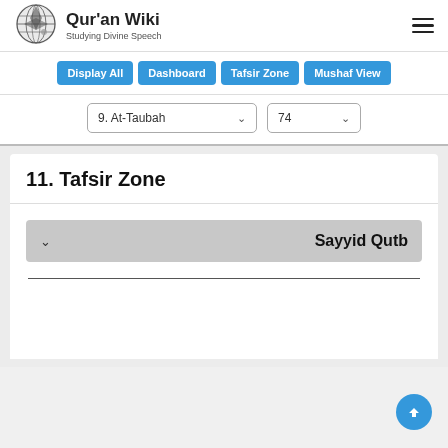[Figure (logo): Quran Wiki logo with globe icon and text 'Studying Divine Speech']
Qur'an Wiki — Studying Divine Speech
Display All
Dashboard
Tafsir Zone
Mushaf View
9. At-Taubah
74
11. Tafsir Zone
Sayyid Qutb